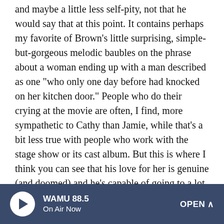and maybe a little less self-pity, not that he would say that at this point. It contains perhaps my favorite of Brown's little surprising, simple-but-gorgeous melodic baubles on the phrase about a woman ending up with a man described as one "who only one day before had knocked on her kitchen door." People who do their crying at the movie are often, I find, more sympathetic to Cathy than Jamie, while that's a bit less true with people who work with the stage show or its cast album. But this is where I think you can see that his love for her is genuine (and doomed) and he's capable of going to a lot of effort on her behalf (in vain). Not too sobby.
12. "A Summer In Ohio."
When It Happens: Right after they're married, Cathy spends
WAMU 88.5 · On Air Now · OPEN